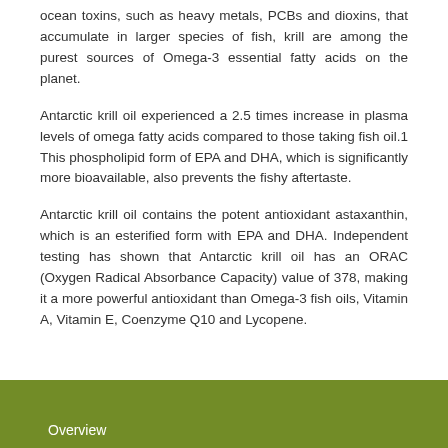ocean toxins, such as heavy metals, PCBs and dioxins, that accumulate in larger species of fish, krill are among the purest sources of Omega-3 essential fatty acids on the planet.
Antarctic krill oil experienced a 2.5 times increase in plasma levels of omega fatty acids compared to those taking fish oil.1 This phospholipid form of EPA and DHA, which is significantly more bioavailable, also prevents the fishy aftertaste.
Antarctic krill oil contains the potent antioxidant astaxanthin, which is an esterified form with EPA and DHA. Independent testing has shown that Antarctic krill oil has an ORAC (Oxygen Radical Absorbance Capacity) value of 378, making it a more powerful antioxidant than Omega-3 fish oils, Vitamin A, Vitamin E, Coenzyme Q10 and Lycopene.
Product Details
Overview